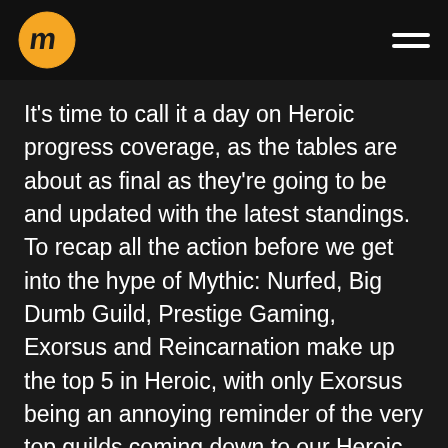[Logo: Raider.IO] [Hamburger menu icon]
It's time to call it a day on Heroic progress coverage, as the tables are about as final as they're going to be and updated with the latest standings. To recap all the action before we get into the hype of Mythic: Nurfed, Big Dumb Guild, Prestige Gaming, Exorsus and Reincarnation make up the top 5 in Heroic, with only Exorsus being an annoying reminder of the very top guilds coming down to our Heroic playground to slightly mess things up for us. On the Asian side we found out the Chinese armory is a "little" messed up at the moment so there's no way to track it (which will be SO fun on Mythics), but we